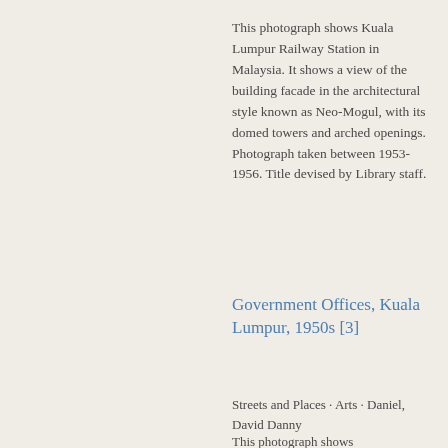This photograph shows Kuala Lumpur Railway Station in Malaysia. It shows a view of the building facade in the architectural style known as Neo-Mogul, with its domed towers and arched openings. Photograph taken between 1953-1956. Title devised by Library staff.
Government Offices, Kuala Lumpur, 1950s [3]
Streets and Places · Arts · Daniel, David Danny
This photograph shows